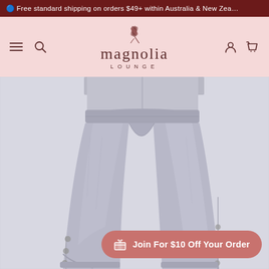Free standard shipping on orders $49+ within Australia & New Zealand
[Figure (logo): Magnolia Lounge logo with flower illustration and brand name]
[Figure (photo): Model wearing grey marle sweatpants with button side detail, shown from waist down]
Join For $10 Off Your Order